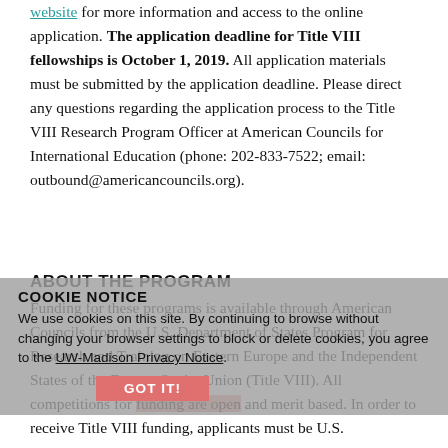website for more information and access to the online application. The application deadline for Title VIII fellowships is October 1, 2019. All application materials must be submitted by the application deadline. Please direct any questions regarding the application process to the Title VIII Research Program Officer at American Councils for International Education (phone: 202-833-7522; email: outbound@americancouncils.org).
ABOUT THE PROGRAM
Funding for these programs is available through American Councils from the U.S. Department of States Program for Research and Training on Eastern Europe and the Independent States of the Former Soviet Union (Title VIII). All competitions for funding are open and merit based. In order to receive Title VIII funding, applicants must be U.S. citizens. All results are collectively supported by the
COOKIE NOTICE
We use cookies on this site. By continuing to browse without changing your browser settings to block or delete cookies, you agree to the UW-Madison Privacy Notice.